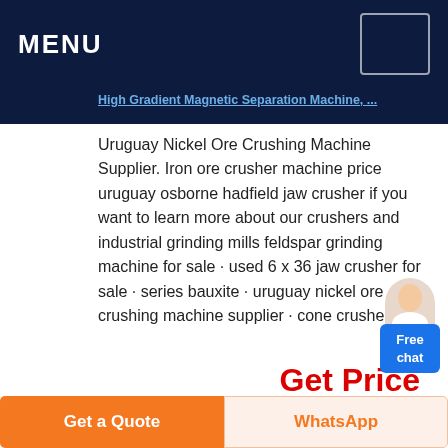MENU
High Gradient Magnetic Separation Machine, Uruguay Nickel Ore Crushing Machine Supplier. Iron ore crusher machine price uruguay osborne hadfield jaw crusher if you want to learn more about our crushers and industrial grinding mills feldspar grinding machine for sale · used 6 x 36 jaw crusher for sale · series bauxite · uruguay nickel ore crushing machine supplier · cone crusher
Get Price
[Figure (photo): Industrial machinery or equipment, cylindrical metal structures against a sky background]
Get a Quote   WhatsApp